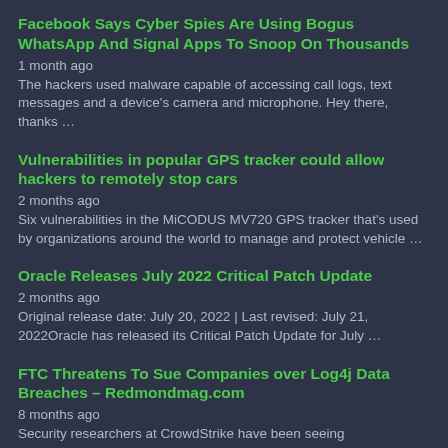Facebook Says Cyber Spies Are Using Bogus WhatsApp And Signal Apps To Snoop On Thousands
1 month ago
The hackers used malware capable of accessing call logs, text messages and a device's camera and microphone. Hey there, thanks …
Vulnerabilities in popular GPS tracker could allow hackers to remotely stop cars
2 months ago
Six vulnerabilities in the MiCODUS MV720 GPS tracker that's used by organizations around the world to manage and protect vehicle …
Oracle Releases July 2022 Critical Patch Update
2 months ago
Original release date: July 20, 2022 | Last revised: July 21, 2022Oracle has released its Critical Patch Update for July …
FTC Threatens To Sue Companies over Log4j Data Breaches – Redmondmag.com
8 months ago
Security researchers at CrowdStrike have been seeing